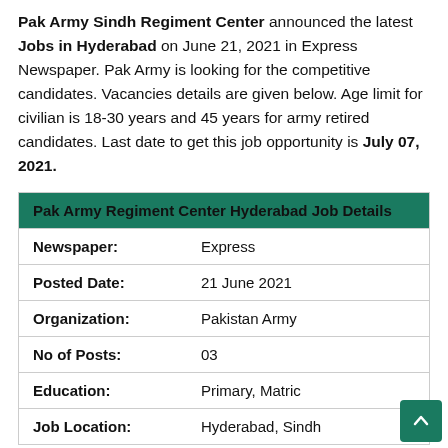Pak Army Sindh Regiment Center announced the latest Jobs in Hyderabad on June 21, 2021 in Express Newspaper. Pak Army is looking for the competitive candidates. Vacancies details are given below. Age limit for civilian is 18-30 years and 45 years for army retired candidates. Last date to get this job opportunity is July 07, 2021.
| Pak Army Regiment Center Hyderabad Job Details |  |
| --- | --- |
| Newspaper: | Express |
| Posted Date: | 21 June 2021 |
| Organization: | Pakistan Army |
| No of Posts: | 03 |
| Education: | Primary, Matric |
| Job Location: | Hyderabad, Sindh |